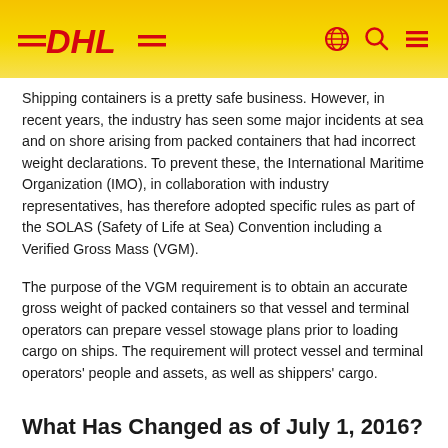DHL logo with globe, search, and menu icons
Shipping containers is a pretty safe business. However, in recent years, the industry has seen some major incidents at sea and on shore arising from packed containers that had incorrect weight declarations. To prevent these, the International Maritime Organization (IMO), in collaboration with industry representatives, has therefore adopted specific rules as part of the SOLAS (Safety of Life at Sea) Convention including a Verified Gross Mass (VGM).
The purpose of the VGM requirement is to obtain an accurate gross weight of packed containers so that vessel and terminal operators can prepare vessel stowage plans prior to loading cargo on ships. The requirement will protect vessel and terminal operators' people and assets, as well as shippers' cargo.
What Has Changed as of July 1, 2016?